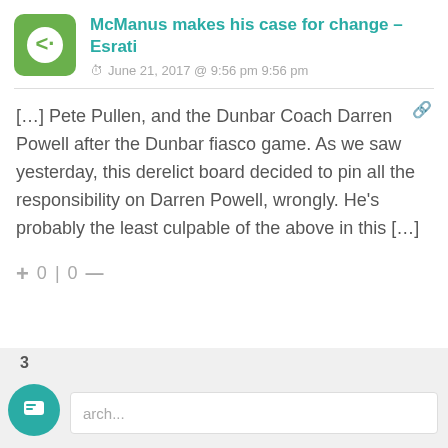McManus makes his case for change – Esrati
June 21, 2017 @ 9:56 pm 9:56 pm
[…] Pete Pullen, and the Dunbar Coach Darren Powell after the Dunbar fiasco game. As we saw yesterday, this derelict board decided to pin all the responsibility on Darren Powell, wrongly. He's probably the least culpable of the above in this […]
+ 0 | 0 —
3
arch...